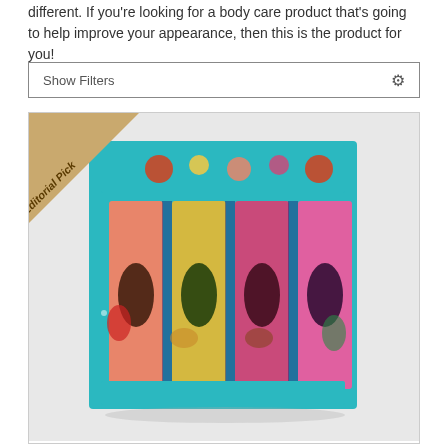different. If you're looking for a body care product that's going to help improve your appearance, then this is the product for you!
Show Filters
[Figure (photo): A colorful holiday gift set box containing four body care products in decorative Christmas-themed packaging (teal box with festive illustrations of Santa, reindeer, and holiday ornaments), with an 'Editorial Pick' ribbon banner in the top-left corner.]